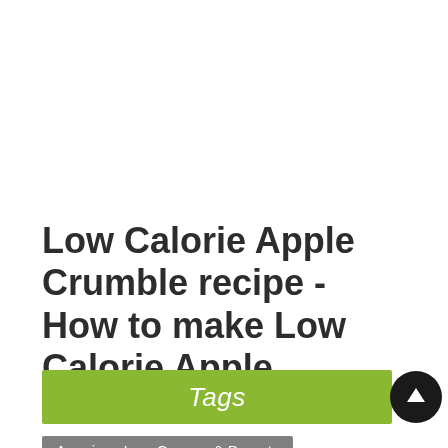Low Calorie Apple Crumble recipe - How to make Low Calorie Apple Crumble
Tags
American Ice - Creams & Deserts